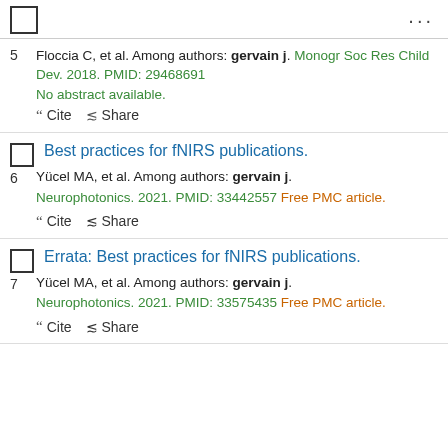5. Floccia C, et al. Among authors: gervain j. Monogr Soc Res Child Dev. 2018. PMID: 29468691
No abstract available.
6. Best practices for fNIRS publications. Yücel MA, et al. Among authors: gervain j. Neurophotonics. 2021. PMID: 33442557 Free PMC article.
7. Errata: Best practices for fNIRS publications. Yücel MA, et al. Among authors: gervain j. Neurophotonics. 2021. PMID: 33575435 Free PMC article.